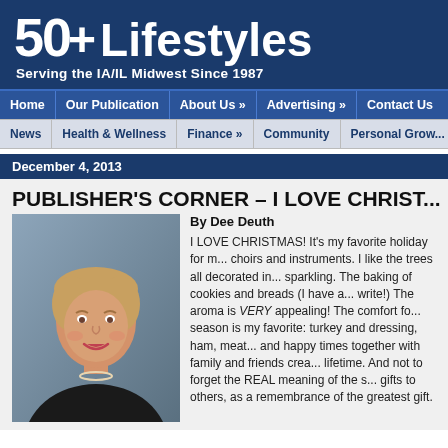[Figure (logo): 50+ Lifestyles logo — large bold white text on dark navy background]
Serving the IA/IL Midwest Since 1987
Home | Our Publication | About Us » | Advertising » | Contact Us
News | Health & Wellness | Finance » | Community | Personal Grow...
December 4, 2013
PUBLISHER'S CORNER – I LOVE CHRIST...
[Figure (photo): Professional headshot of a woman with short blonde hair, wearing a black jacket and pearl necklace, smiling]
By Dee Deuth
I LOVE CHRISTMAS! It's my favorite holiday for m... choirs and instruments. I like the trees all decorated in... sparkling. The baking of cookies and breads (I have a... write!) The aroma is VERY appealing! The comfort fo... season is my favorite: turkey and dressing, ham, meat... and happy times together with family and friends crea... lifetime. And not to forget the REAL meaning of the s... gifts to others, as a remembrance of the greatest gift.